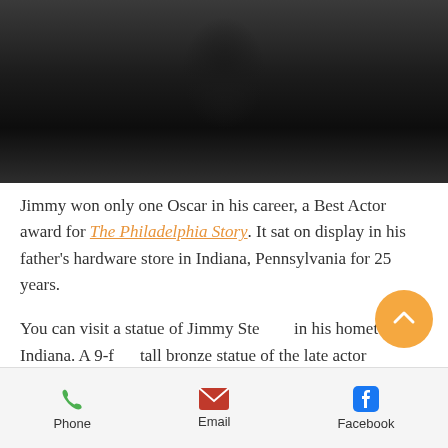[Figure (photo): Black and white photo showing the torso/midsection of a person wearing a dark military or formal jacket, cropped at chest and waist level.]
Jimmy won only one Oscar in his career, a Best Actor award for The Philadelphia Story. It sat on display in his father's hardware store in Indiana, Pennsylvania for 25 years.
You can visit a statue of Jimmy Ste... in his hometown of Indiana. A 9-f... tall bronze statue of the late actor...
Phone  Email  Facebook